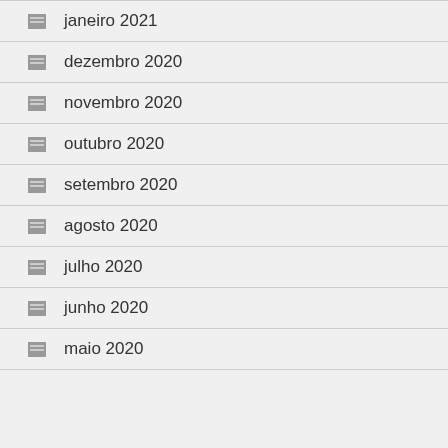janeiro 2021
dezembro 2020
novembro 2020
outubro 2020
setembro 2020
agosto 2020
julho 2020
junho 2020
maio 2020